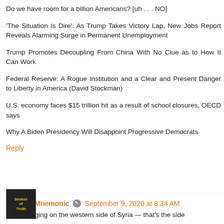Do we have room for a billion Americans? [uh . . . NO]
'The Situation Is Dire': As Trump Takes Victory Lap, New Jobs Report Reveals Alarming Surge in Permanent Unemployment
Trump Promotes Decoupling From China With No Clue as to How It Can Work
Federal Reserve: A Rogue Institution and a Clear and Present Danger to Liberty in America (David Stockman)
U.S. economy faces $15 trillion hit as a result of school closures, OECD says
Why A Biden Presidency Will Disappoint Progressive Democrats
Reply
Jonny Mnemonic  September 9, 2020 at 8:34 AM
Fires raging on the western side of Syria — that's the side